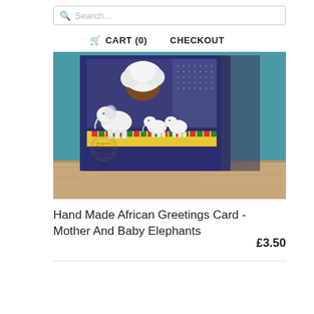Search...
CART (0)   CHECKOUT
[Figure (photo): Hand made African greetings card showing mother and baby elephants, displayed in a dark blue frame on a wooden surface. The card features white cut-out elephants under a white tree, with colorful African fabric patterns at the bottom. An 'Originally African' logo stamp is visible in the lower left.]
Hand Made African Greetings Card - Mother And Baby Elephants
£3.50